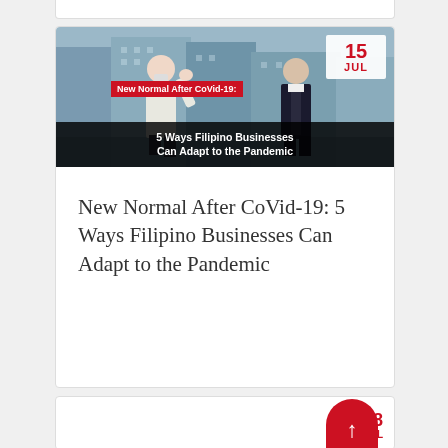[Figure (photo): Article card with photo of people wearing masks in an urban setting with buildings in background. Red category label reads 'New Normal After CoVid-19:' and black overlay title reads '5 Ways Filipino Businesses Can Adapt to the Pandemic'. Date badge shows '15 JUL' in red.]
New Normal After CoVid-19: 5 Ways Filipino Businesses Can Adapt to the Pandemic
[Figure (other): Partial second article card showing date badge '08 JUL' in red, with a scroll-to-top button (red rounded rectangle with up arrow) in the bottom right corner.]